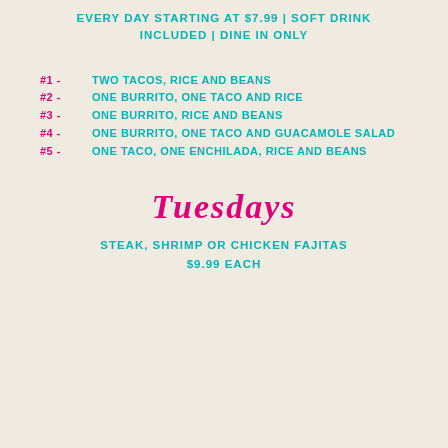EVERY DAY STARTING AT $7.99 | SOFT DRINK INCLUDED | DINE IN ONLY
#1 - TWO TACOS, RICE AND BEANS
#2 - ONE BURRITO, ONE TACO AND RICE
#3 - ONE BURRITO, RICE AND BEANS
#4 - ONE BURRITO, ONE TACO AND GUACAMOLE SALAD
#5 - ONE TACO, ONE ENCHILADA, RICE AND BEANS
TUESDAYS
STEAK, SHRIMP OR CHICKEN FAJITAS $9.99 EACH